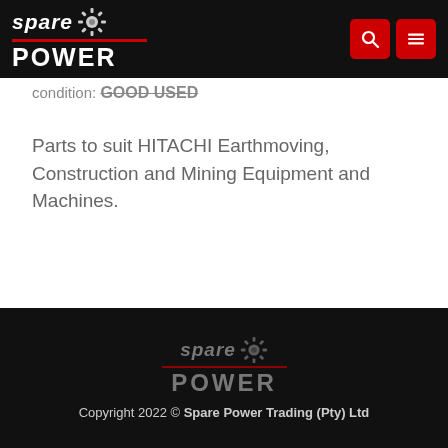spare POWER
condition: GOOD USED
Parts to suit HITACHI Earthmoving, Construction and Mining Equipment and Machines.
spare POWER — Copyright 2022 © Spare Power Trading (Pty) Ltd